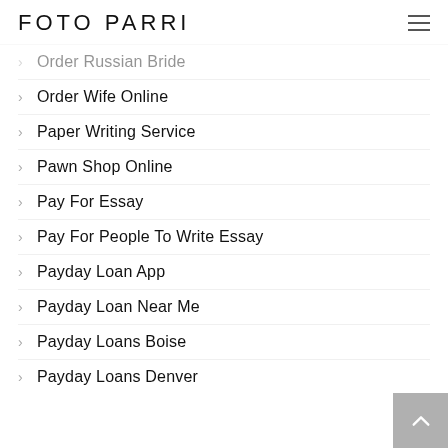FOTO PARRI
Order Russian Bride
Order Wife Online
Paper Writing Service
Pawn Shop Online
Pay For Essay
Pay For People To Write Essay
Payday Loan App
Payday Loan Near Me
Payday Loans Boise
Payday Loans Denver